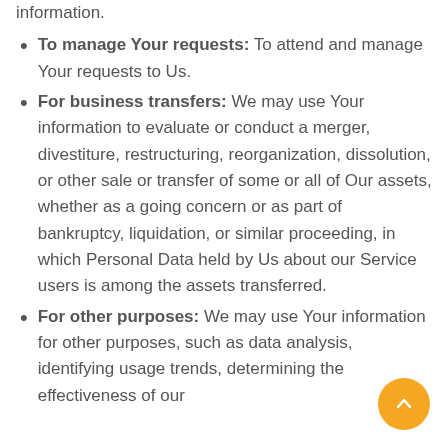information.
To manage Your requests: To attend and manage Your requests to Us.
For business transfers: We may use Your information to evaluate or conduct a merger, divestiture, restructuring, reorganization, dissolution, or other sale or transfer of some or all of Our assets, whether as a going concern or as part of bankruptcy, liquidation, or similar proceeding, in which Personal Data held by Us about our Service users is among the assets transferred.
For other purposes: We may use Your information for other purposes, such as data analysis, identifying usage trends, determining the effectiveness of our